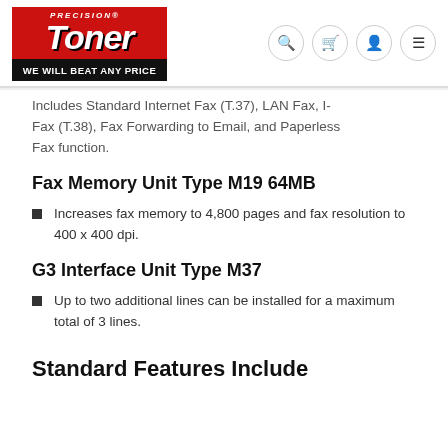[Figure (logo): Precision Toner logo with red background, white italic text 'TONER', and black bar reading 'WE WILL BEAT ANY PRICE']
Includes Standard Internet Fax (T.37), LAN Fax, I-Fax (T.38), Fax Forwarding to Email, and Paperless Fax function.
Fax Memory Unit Type M19 64MB
Increases fax memory to 4,800 pages and fax resolution to 400 x 400 dpi.
G3 Interface Unit Type M37
Up to two additional lines can be installed for a maximum total of 3 lines.
Standard Features Include